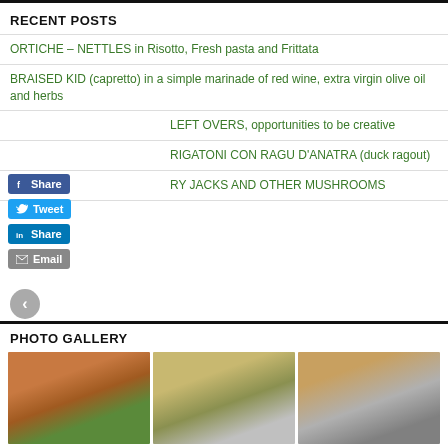RECENT POSTS
ORTICHE – NETTLES in Risotto, Fresh pasta and Frittata
BRAISED KID (capretto) in a simple marinade of red wine, extra virgin olive oil and herbs
LEFT OVERS, opportunities to be creative
RIGATONI CON RAGU D'ANATRA (duck ragout)
RY JACKS AND OTHER MUSHROOMS
PHOTO GALLERY
[Figure (photo): Three food photos: a bowl of stewed tomatoes and vegetables, a plate of pasta with fork, and a plate of grilled/roasted meat slices.]